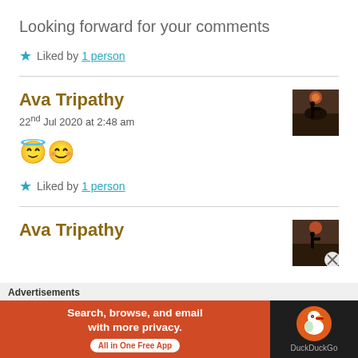Looking forward for your comments
★ Liked by 1 person
Ava Tripathy
22nd Jul 2020 at 2:48 am
😇😊
★ Liked by 1 person
Ava Tripathy
Advertisements
[Figure (screenshot): DuckDuckGo advertisement banner: 'Search, browse, and email with more privacy. All in One Free App' with DuckDuckGo logo on dark background]